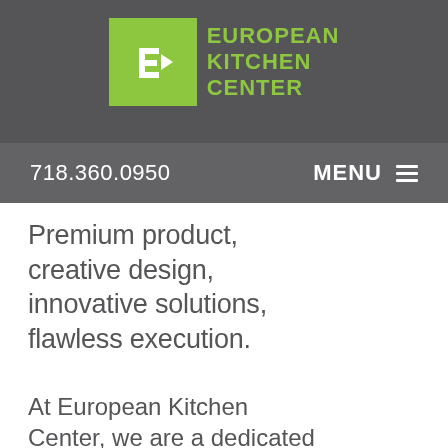[Figure (logo): European Kitchen Center logo: green square with white stylized EKC icon, with text EUROPEAN KITCHEN CENTER in green bold letters on dark grey background]
718.360.0950   MENU ≡
Premium product, creative design, innovative solutions, flawless execution.
At European Kitchen Center, we are a dedicated